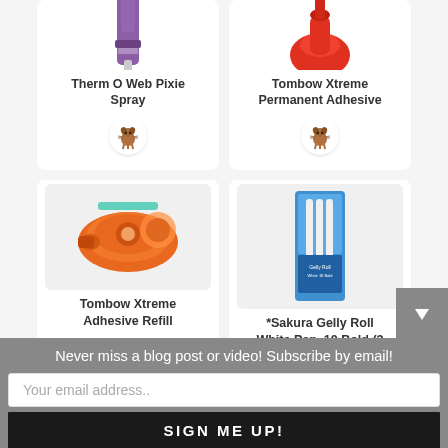[Figure (screenshot): Product card: Therm O Web Pixie Spray - shows partial purple spray can at top, product name label, and small dog logo icon]
[Figure (screenshot): Product card: Tombow Xtreme Permanent Adhesive - shows partial red product at top, product name label, and small dog logo icon]
[Figure (screenshot): Product card: Tombow Xtreme Adhesive Refill - shows orange tape dispenser product image]
[Figure (screenshot): Product card: *Sakura Gelly Roll White Pen, 10 Bold (3 pack) - shows blue packaged pens product image]
Never miss a blog post or video! Subscribe by email!
Your email address..
SIGN ME UP!